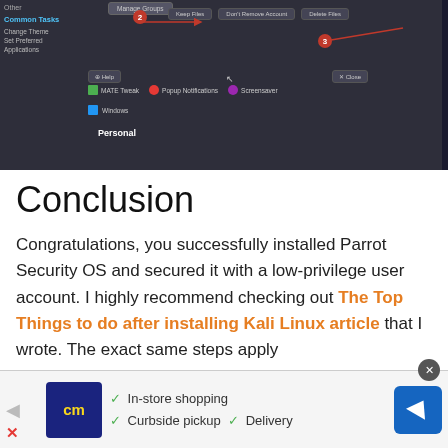[Figure (screenshot): Screenshot of a Linux desktop environment (likely MATE) showing a user management dialog with 'Manage Groups' button, numbered red circle annotations (2 and 3), 'Keep Files', 'Don't Remove Account', 'Delete Files' options, Help and Close buttons, MATE Tweak, Popup Notifications, Screensaver icons, Windows option, and 'Personal' label.]
Conclusion
Congratulations, you successfully installed Parrot Security OS and secured it with a low-privilege user account. I highly recommend checking out The Top Things to do after installing Kali Linux article that I wrote. The exact same steps apply
[Figure (screenshot): Advertisement banner showing a store logo with 'cm' text on dark blue background, checkmarks for In-store shopping, Curbside pickup, and Delivery, and a navigation arrow icon on blue background.]